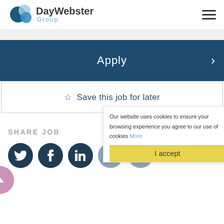[Figure (logo): DayWebster Group logo with overlapping blue circles and text]
Apply
☆  Save this job for later
SHARE JOB
[Figure (infographic): Social share icons: Twitter, Facebook, LinkedIn, Email, WhatsApp]
Our website uses cookies to ensure your browsing experience you agree to our use of cookies More
I accept